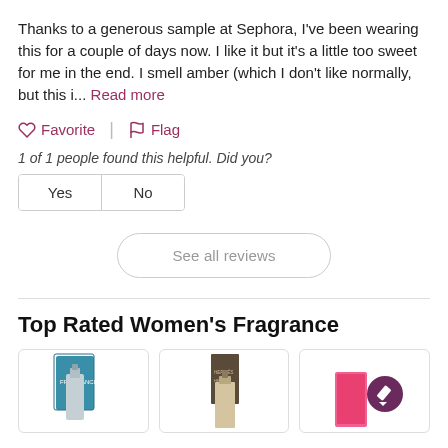Thanks to a generous sample at Sephora, I've been wearing this for a couple of days now. I like it but it's a little too sweet for me in the end. I smell amber (which I don't like normally, but this i... Read more
Favorite | Flag
1 of 1 people found this helpful. Did you?
Yes | No
See all reviews
Top Rated Women's Fragrance
[Figure (photo): Three product images of women's fragrances shown in a horizontal grid at the bottom of the page.]